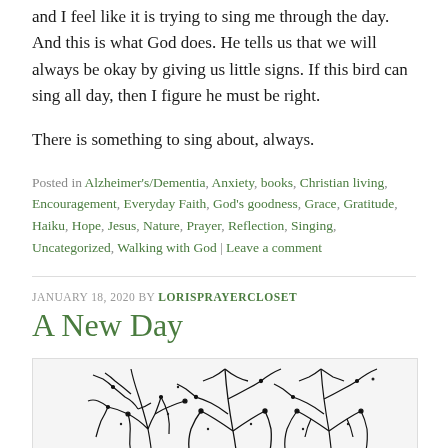and I feel like it is trying to sing me through the day. And this is what God does. He tells us that we will always be okay by giving us little signs. If this bird can sing all day, then I figure he must be right.
There is something to sing about, always.
Posted in Alzheimer's/Dementia, Anxiety, books, Christian living, Encouragement, Everyday Faith, God's goodness, Grace, Gratitude, Haiku, Hope, Jesus, Nature, Prayer, Reflection, Singing, Uncategorized, Walking with God | Leave a comment
JANUARY 18, 2020 BY LORISPRAYERCLOSET
A New Day
[Figure (illustration): Black ink drawing of abstract bare tree branches with swirling, tangled lines on a light background]